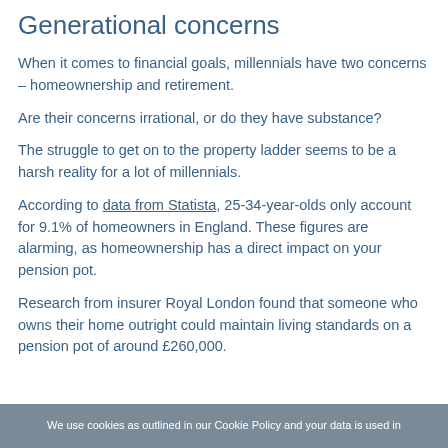Generational concerns
When it comes to financial goals, millennials have two concerns – homeownership and retirement.
Are their concerns irrational, or do they have substance?
The struggle to get on to the property ladder seems to be a harsh reality for a lot of millennials.
According to data from Statista, 25-34-year-olds only account for 9.1% of homeowners in England. These figures are alarming, as homeownership has a direct impact on your pension pot.
Research from insurer Royal London found that someone who owns their home outright could maintain living standards on a pension pot of around £260,000.
We use cookies as outlined in our Cookie Policy and your data is used in